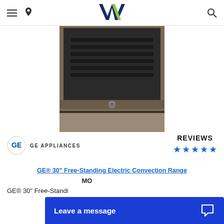Navigation header with menu, location, logo, and search icons
[Figure (photo): GE 30-inch free-standing electric convection range in slate/bronze color, top-down view showing oven door with grill vents and drawer]
[Figure (logo): GE Appliances logo — circular GE emblem with text GE APPLIANCES]
REVIEWS ★★★★★
GE® 30" Free-Standing Electric Convection Range
MO...
GE® 30" Free-Standi...
Leave a message